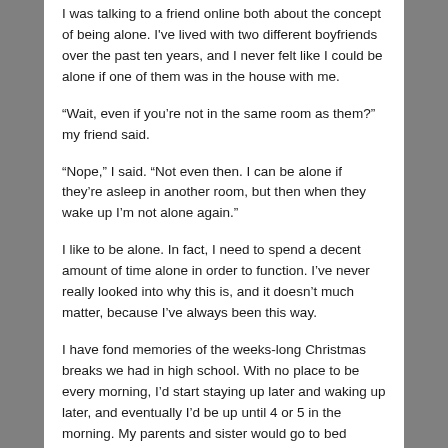I was talking to a friend online both about the concept of being alone. I've lived with two different boyfriends over the past ten years, and I never felt like I could be alone if one of them was in the house with me.
“Wait, even if you’re not in the same room as them?” my friend said.
“Nope,” I said. “Not even then. I can be alone if they’re asleep in another room, but then when they wake up I’m not alone again.”
I like to be alone. In fact, I need to spend a decent amount of time alone in order to function. I’ve never really looked into why this is, and it doesn’t much matter, because I’ve always been this way.
I have fond memories of the weeks-long Christmas breaks we had in high school. With no place to be every morning, I’d start staying up later and waking up later, and eventually I’d be up until 4 or 5 in the morning. My parents and sister would go to bed between 10 and midnight, and